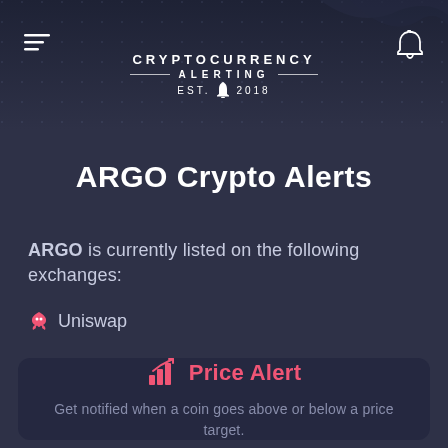CRYPTOCURRENCY ALERTING EST. 2018
ARGO Crypto Alerts
ARGO is currently listed on the following exchanges:
Uniswap
[Figure (infographic): Price Alert card with bar chart rising icon and text: Get notified when a coin goes above or below a price target.]